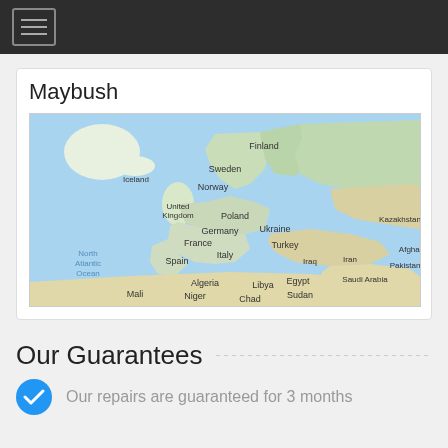Maybush
[Figure (map): Google Maps view of Europe, North Africa, and Middle East showing countries: Iceland, Finland, Sweden, Norway, United Kingdom, Poland, Germany, Ukraine, Kazakhstan, France, Italy, Turkey, Spain, Algeria, Libya, Egypt, Saudi Arabia, Afghanistan, Iran, Iraq, Pakistan, Mali, Niger, Chad, Sudan, North Atlantic Ocean]
Our Guarantees
Our repairs are guaranteed for 3 months